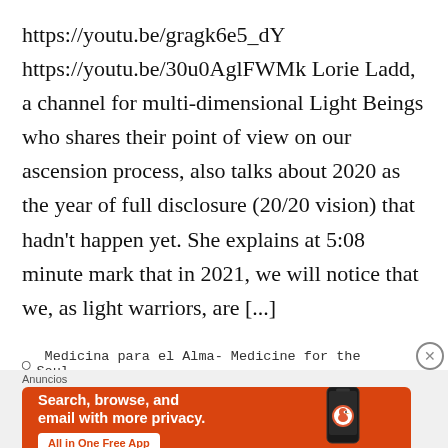https://youtu.be/gragk6e5_dY https://youtu.be/30u0AglFWMk Lorie Ladd, a channel for multi-dimensional Light Beings who shares their point of view on our ascension process, also talks about 2020 as the year of full disclosure (20/20 vision) that hadn't happen yet. She explains at 5:08 minute mark that in 2021, we will notice that we, as light warriors, are [...]
Medicina para el Alma- Medicine for the Soul
[Figure (screenshot): DuckDuckGo advertisement banner with orange background. Text reads: 'Search, browse, and email with more privacy. All in One Free App' with DuckDuckGo logo and phone graphic on the right.]